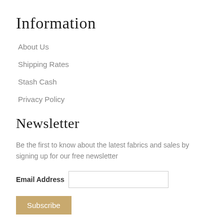Information
About Us
Shipping Rates
Stash Cash
Privacy Policy
Newsletter
Be the first to know about the latest fabrics and sales by signing up for our free newsletter
Email Address [input field] Subscribe button